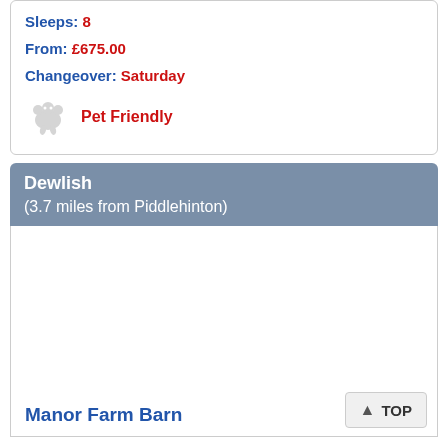Sleeps: 8
From: £675.00
Changeover: Saturday
Pet Friendly
Dewlish (3.7 miles from Piddlehinton)
Manor Farm Barn